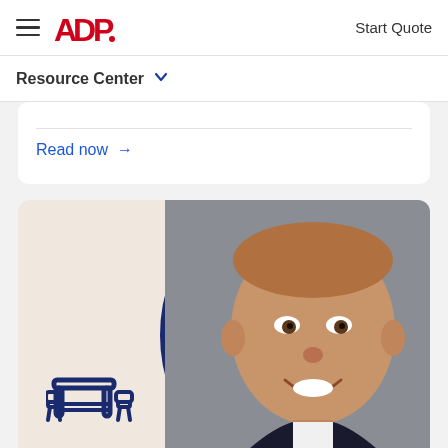ADP — Start Quote
Resource Center
Read now →
[Figure (photo): ADP Resource Center case study card featuring a smiling man in a business suit against a grey background, with a dark navy blue circular frame, and an ADP icon in the lower left of the card image area. Label below reads CASE STUDY.]
CASE STUDY